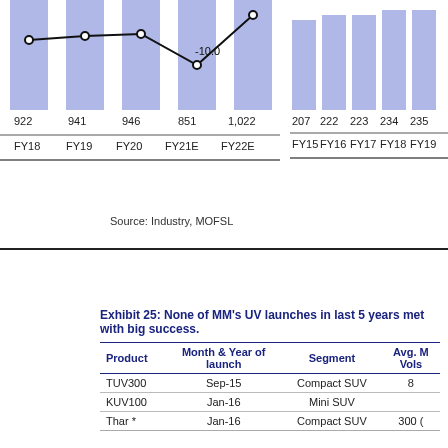[Figure (line-chart): Partial line chart showing values 922, 941, 946, 851, 1,022 with -10.0 annotation]
[Figure (bar-chart): Partial bar chart showing values across FY15-FY19]
Source: Industry, MOFSL
Exhibit 25: None of MM’s UV launches in last 5 years met with big success.
| Product | Month & Year of launch | Segment | Avg. M Vols |
| --- | --- | --- | --- |
| TUV300 | Sep-15 | Compact SUV | 8 |
| KUV100 | Jan-16 | Mini SUV |  |
| Thar * | Jan-16 | Compact SUV | 300 ( |